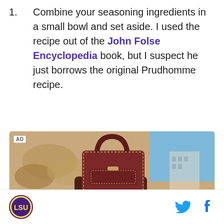1. Combine your seasoning ingredients in a small bowl and set aside. I used the recipe out of the John Folse Encyclopedia book, but I suspect he just borrows the original Prudhomme recipe.
[Figure (photo): Advertisement photo showing a woman holding up a burgundy leather handbag above her head, with a beige stone sculpture and blue sky in the background. 'AD' label in top-left corner.]
LSU logo (circular badge) on the left; Twitter bird icon and Facebook 'f' icon on the right